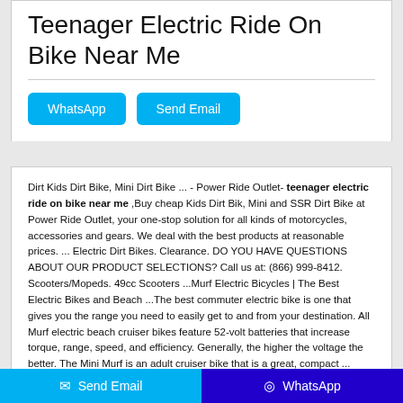Teenager Electric Ride On Bike Near Me
WhatsApp | Send Email
Dirt Kids Dirt Bike, Mini Dirt Bike ... - Power Ride Outlet- teenager electric ride on bike near me ,Buy cheap Kids Dirt Bik, Mini and SSR Dirt Bike at Power Ride Outlet, your one-stop solution for all kinds of motorcycles, accessories and gears. We deal with the best products at reasonable prices. ... Electric Dirt Bikes. Clearance. DO YOU HAVE QUESTIONS ABOUT OUR PRODUCT SELECTIONS? Call us at: (866) 999-8412. Scooters/Mopeds. 49cc Scooters ...Murf Electric Bicycles | The Best Electric Bikes and Beach ...The best commuter electric bike is one that gives you the range you need to easily get to and from your destination. All Murf electric beach cruiser bikes feature 52-volt batteries that increase torque, range, speed, and efficiency. Generally, the higher the voltage the better. The Mini Murf is an adult cruiser bike that is a great, compact ...
E-mail*
Send Email | WhatsApp